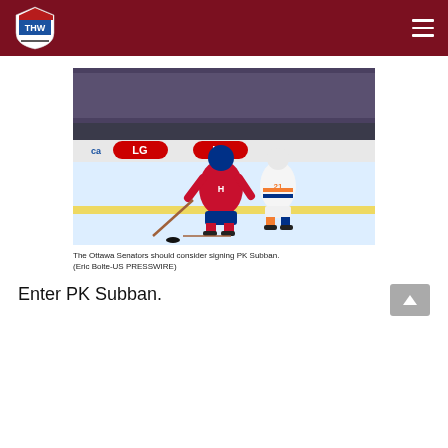THW - The Hockey Writers
[Figure (photo): Two hockey players battling for the puck along the boards in an NHL game. Player in red Montreal Canadiens jersey (#76) versus player in white New York Islanders jersey (#21). LG and ca.com advertising boards visible in background.]
The Ottawa Senators should consider signing PK Subban. (Eric Bolte-US PRESSWIRE)
Enter PK Subban.